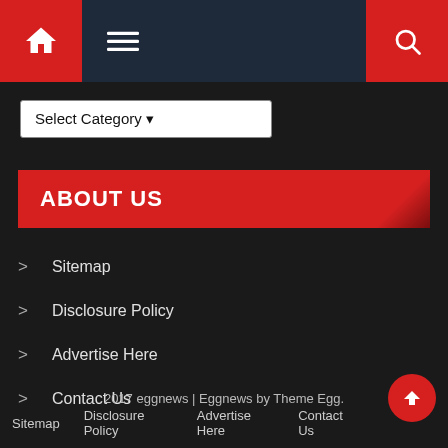Navigation bar with home icon, menu icon, and search icon
Select Category
ABOUT US
Sitemap
Disclosure Policy
Advertise Here
Contact Us
2017 eggnews | Eggnews by Theme Egg.
Sitemap   Disclosure Policy   Advertise Here   Contact Us